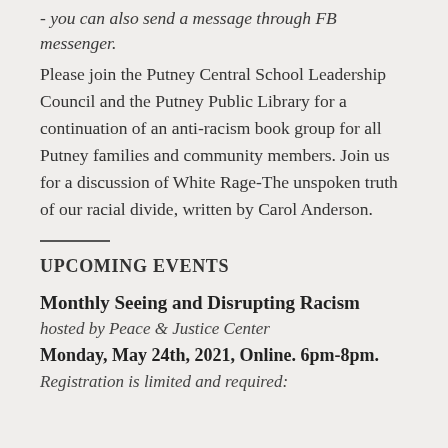- you can also send a message through FB messenger.
Please join the Putney Central School Leadership Council and the Putney Public Library for a continuation of an anti-racism book group for all Putney families and community members. Join us for a discussion of White Rage-The unspoken truth of our racial divide, written by Carol Anderson.
UPCOMING EVENTS
Monthly Seeing and Disrupting Racism
hosted by Peace & Justice Center
Monday, May 24th, 2021, Online. 6pm-8pm.
Registration is limited and required: